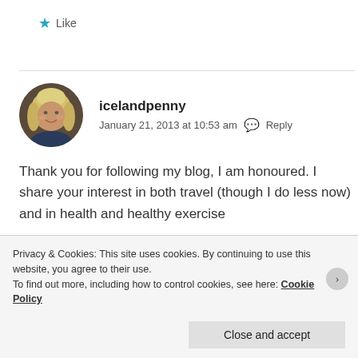★ Like
icelandpenny
January 21, 2013 at 10:53 am  Reply
Thank you for following my blog, I am honoured. I share your interest in both travel (though I do less now) and in health and healthy exercise
Privacy & Cookies: This site uses cookies. By continuing to use this website, you agree to their use.
To find out more, including how to control cookies, see here: Cookie Policy
Close and accept